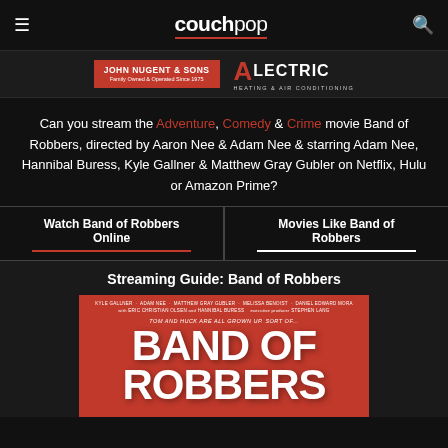couchpop
[Figure (photo): Advertisement banner: John Nugent & Sons (red box) and A-Lectric Heating & Air Conditioning logo]
Can you stream the Adventure, Comedy & Crime movie Band of Robbers, directed by Aaron Nee & Adam Nee & starring Adam Nee, Hannibal Buress, Kyle Gallner & Matthew Gray Gubler on Netflix, Hulu or Amazon Prime?
Watch Band of Robbers Online
Movies Like Band of Robbers
Streaming Guide: Band of Robbers
[Figure (photo): Band of Robbers movie poster — red background with large white hand-lettered title text 'BAND OF ROBBERS' and cast names at top including Kyle Gallner, Adam Nee, Matthew Gray Gubler, Melissa Benoist, Daniel Edward Mora, Eric Christian Olsen, Hannibal Buress, Stephen Lang. Tagline: Tom and Huck are all grown up. Sort of...]